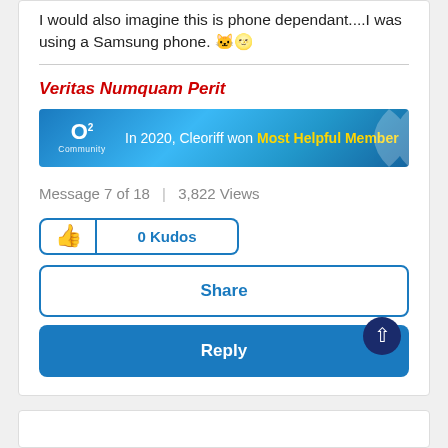I would also imagine this is phone dependant....I was using a Samsung phone. 🐱🌝
Veritas Numquam Perit
[Figure (infographic): O2 Community award banner: 'In 2020, Cleoriff won Most Helpful Member']
Message 7 of 18 | 3,822 Views
0 Kudos
Share
Reply